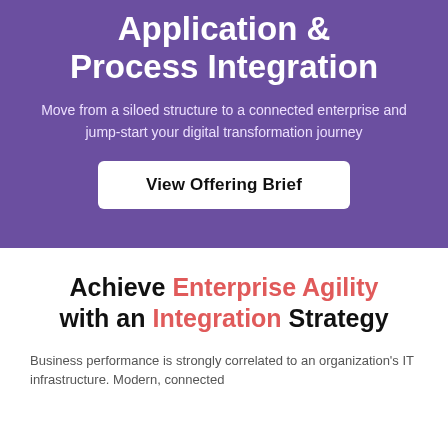Application & Process Integration
Move from a siloed structure to a connected enterprise and jump-start your digital transformation journey
View Offering Brief
Achieve Enterprise Agility with an Integration Strategy
Business performance is strongly correlated to an organization's IT infrastructure. Modern, connected